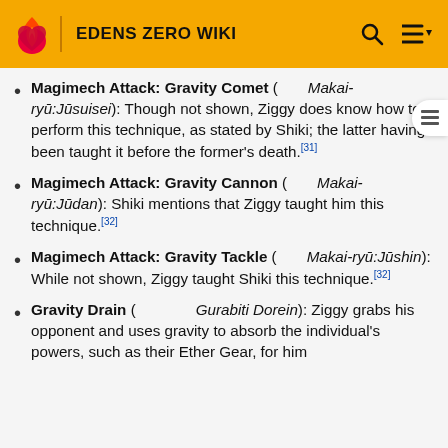EDENS ZERO WIKI
Magimech Attack: Gravity Comet (Makai-ryū:Jūsuisei): Though not shown, Ziggy does know how to perform this technique, as stated by Shiki; the latter having been taught it before the former's death.[31]
Magimech Attack: Gravity Cannon (Makai-ryū:Jūdan): Shiki mentions that Ziggy taught him this technique.[32]
Magimech Attack: Gravity Tackle (Makai-ryū:Jūshin): While not shown, Ziggy taught Shiki this technique.[32]
Gravity Drain (Gurabiti Dorein): Ziggy grabs his opponent and uses gravity to absorb the individual's powers, such as their Ether Gear, for him